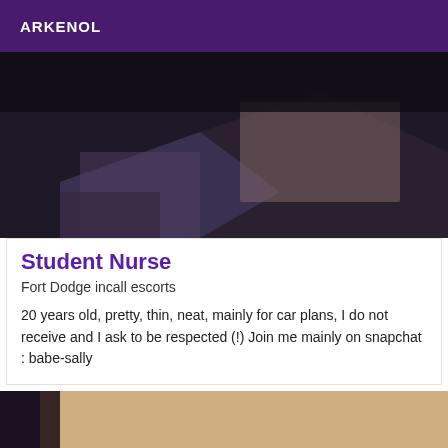ARKENOL
[Figure (photo): Dark close-up photo showing fabric or upholstery in dark and muted tones]
Student Nurse
Fort Dodge incall escorts
20 years old, pretty, thin, neat, mainly for car plans, I do not receive and I ask to be respected (!) Join me mainly on snapchat : babe-sally
[Figure (photo): Close-up photo with warm skin-tone and dark fabric at the edge]